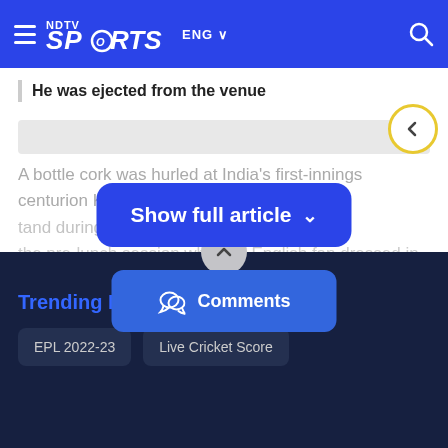NDTV Sports ENG
He was ejected from the venue
A bottle cork was hurled at India's first-innings centurion K L R [stand during the pre-lunch session while an English fan dressed in
[Figure (screenshot): Show full article button overlay (blue rounded rectangle with chevron)]
[Figure (screenshot): Comments button (blue rounded rectangle with speech bubble icon)]
[Figure (screenshot): Back navigation button (circular with yellow border and left arrow)]
Trending Links
EPL 2022-23
Live Cricket Score